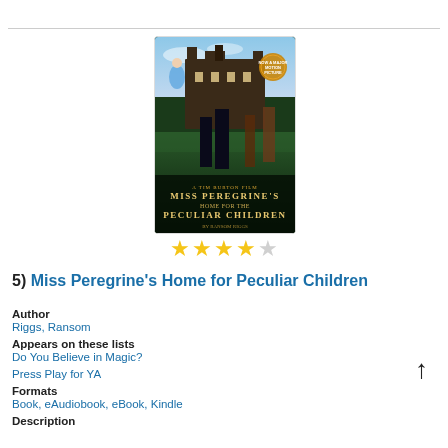[Figure (photo): Book cover of Miss Peregrine's Home for Peculiar Children showing movie poster style artwork with characters and mansion]
[Figure (other): Star rating: 4 out of 5 stars]
5) Miss Peregrine's Home for Peculiar Children
Author
Riggs, Ransom
Appears on these lists
Do You Believe in Magic?
Press Play for YA
Formats
Book, eAudiobook, eBook, Kindle
Description